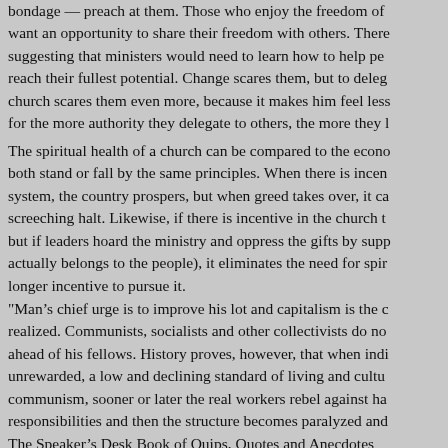bondage — preach at them. Those who enjoy the freedom of want an opportunity to share their freedom with others. There suggesting that ministers would need to learn how to help pe reach their fullest potential. Change scares them, but to deleg church scares them even more, because it makes him feel less for the more authority they delegate to others, the more they l
The spiritual health of a church can be compared to the econo both stand or fall by the same principles. When there is incen system, the country prospers, but when greed takes over, it ca screeching halt. Likewise, if there is incentive in the church t but if leaders hoard the ministry and oppress the gifts by supp actually belongs to the people), it eliminates the need for spir longer incentive to pursue it.
"Man’s chief urge is to improve his lot and capitalism is the c realized. Communists, socialists and other collectivists do no ahead of his fellows. History proves, however, that when indi unrewarded, a low and declining standard of living and cultu communism, sooner or later the real workers rebel against ha responsibilities and then the structure becomes paralyzed and The Speaker’s Desk Book of Quips, Quotes and Anecdotes